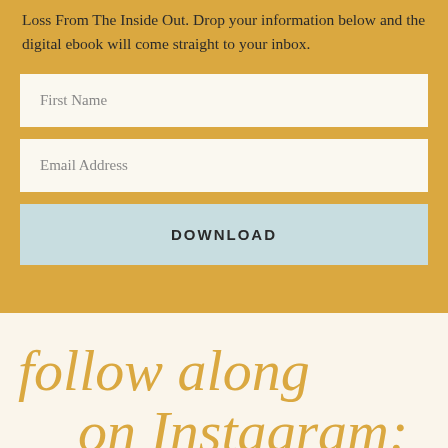Loss From The Inside Out. Drop your information below and the digital ebook will come straight to your inbox.
[Figure (other): Email signup form with First Name field, Email Address field, and DOWNLOAD button on golden background]
follow along on Instagram: